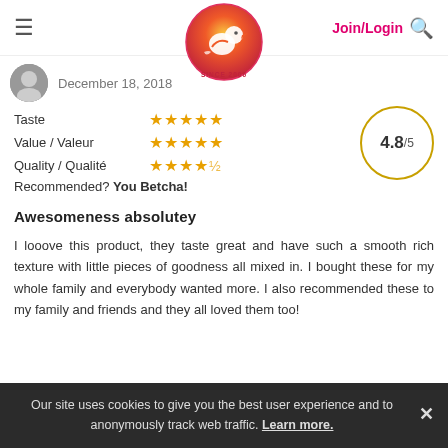[Figure (logo): ChickAdvisor logo with bird icon, circular gradient, Since 2006]
December 18, 2018
Taste ★★★★★
Value / Valeur ★★★★★
Quality / Qualité ★★★★½
Recommended? You Betcha!
4.8/5
Awesomeness absolutey
I looove this product, they taste great and have such a smooth rich texture with little pieces of goodness all mixed in. I bought these for my whole family and everybody wanted more. I also recommended these to my family and friends and they all loved them too!
Our site uses cookies to give you the best user experience and to anonymously track web traffic. Learn more.